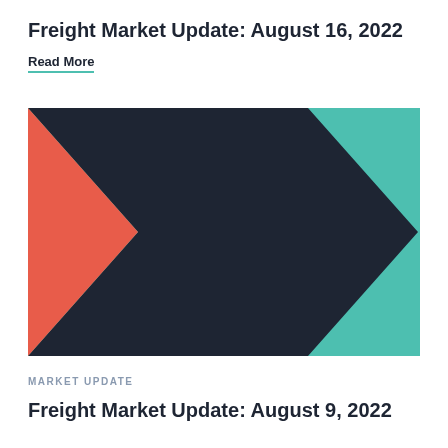Freight Market Update: August 16, 2022
Read More
[Figure (illustration): Graphic with arrow-chevron shapes: a red triangle chevron on the left, overlapping a large dark navy chevron in the center, on a teal/green background on the right.]
MARKET UPDATE
Freight Market Update: August 9, 2022